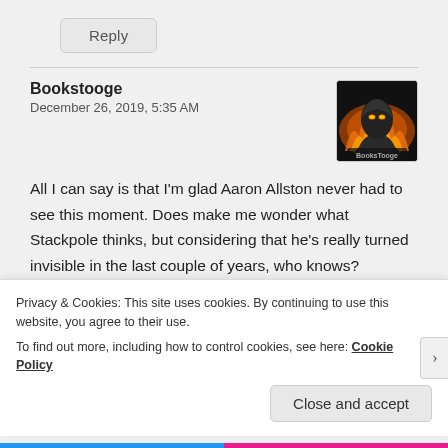Reply
Bookstooge
December 26, 2019, 5:35 AM
[Figure (illustration): Avatar image of Bookstooge — dark hooded figure with glowing eyes, fire in background, 'BooksTooge' text at bottom]
All I can say is that I'm glad Aaron Allston never had to see this moment. Does make me wonder what Stackpole thinks, but considering that he's really turned invisible in the last couple of years, who knows?
Like
Privacy & Cookies: This site uses cookies. By continuing to use this website, you agree to their use.
To find out more, including how to control cookies, see here: Cookie Policy
Close and accept